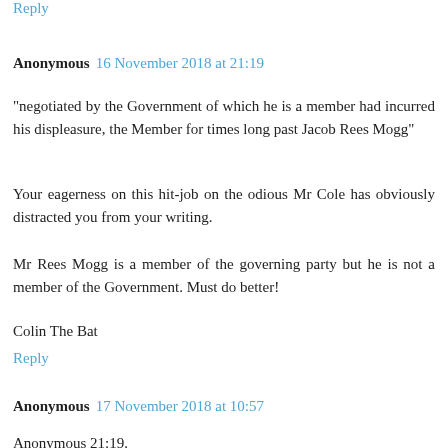Reply
Anonymous  16 November 2018 at 21:19
"negotiated by the Government of which he is a member had incurred his displeasure, the Member for times long past Jacob Rees Mogg"
Your eagerness on this hit-job on the odious Mr Cole has obviously distracted you from your writing.
Mr Rees Mogg is a member of the governing party but he is not a member of the Government. Must do better!
Colin The Bat
Reply
Anonymous  17 November 2018 at 10:57
Anonymous 21:19.